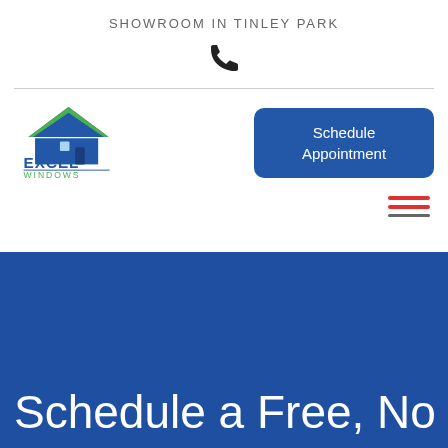SHOWROOM IN TINLEY PARK
[Figure (illustration): Phone/call icon in black]
[Figure (logo): Excel Windows logo with blue house/roof icon and green accent, text EXCEL WINDOWS]
Schedule Appointment
[Figure (illustration): Hamburger menu icon with two red lines and one dark gray line]
Schedule a Free, No